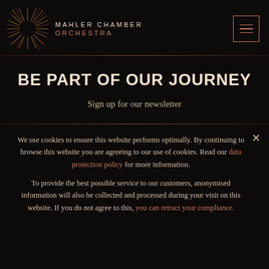[Figure (logo): Mahler Chamber Orchestra logo: abstract circular burst of gold and red lines radiating outward from a dark center circle]
MAHLER CHAMBER ORCHESTRA
[Figure (other): Hamburger menu button: three horizontal lines in a square border, rose/copper colored]
BE PART OF OUR JOURNEY
Sign up for our newsletter
We use cookies to ensure this website performs optimally. By continuing to browse this website you are agreeing to our use of cookies. Read our data protection policy for more information.
To provide the best possible service to our customers, anonymised information will also be collected and processed during your visit on this website. If you do not agree to this, you can retract your compliance.